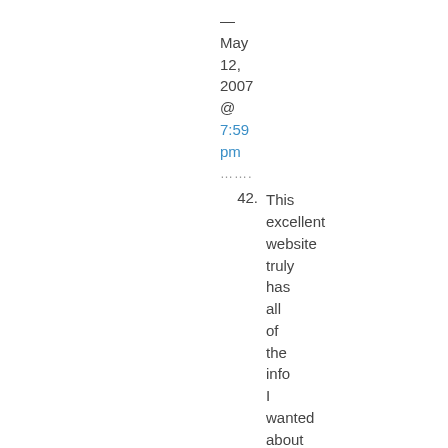— May 12, 2007 @ 7:59 pm
.......
42. This excellent website truly has all of the info I wanted about this subject and didn't know who